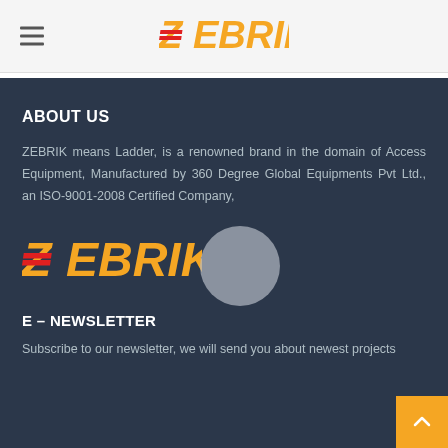[Figure (logo): ZEBRIK logo in orange and red in the header navigation bar]
ABOUT US
ZEBRIK means Ladder, is a renowned brand in the domain of Access Equipment, Manufactured by 360 Degree Global Equipments Pvt Ltd., an ISO-9001-2008 Certified Company,
[Figure (logo): ZEBRIK logo in orange/yellow and red on dark background]
E – NEWSLETTER
Subscribe to our newsletter, we will send you about newest projects